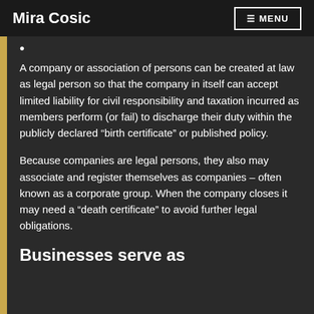Mira Cosic  ☰ MENU
A company or association of persons can be created at law as legal person so that the company in itself can accept limited liability for civil responsibility and taxation incurred as members perform (or fail) to discharge their duty within the publicly declared “birth certificate” or published policy.
Because companies are legal persons, they also may associate and register themselves as companies – often known as a corporate group. When the company closes it may need a “death certificate” to avoid further legal obligations.
Businesses serve as